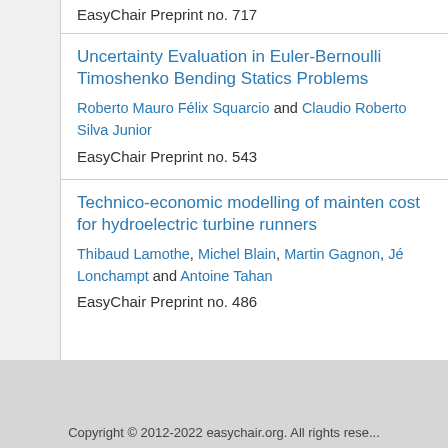EasyChair Preprint no. 717
Uncertainty Evaluation in Euler-Bernoulli Timoshenko Bending Statics Problems
Roberto Mauro Félix Squarcio and Claudio Roberto Silva Junior
EasyChair Preprint no. 543
Technico-economic modelling of maintenance cost for hydroelectric turbine runners
Thibaud Lamothe, Michel Blain, Martin Gagnon, Jé Lonchampt and Antoine Tahan
EasyChair Preprint no. 486
Copyright © 2012-2022 easychair.org. All rights reserved.